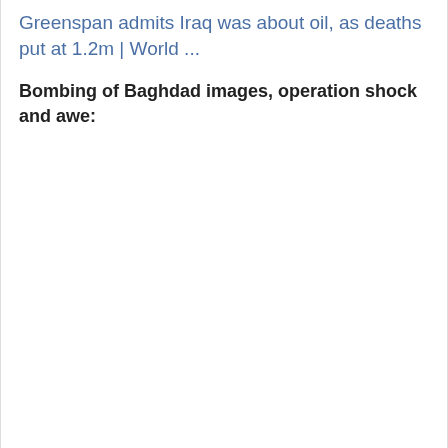Greenspan admits Iraq was about oil, as deaths put at 1.2m | World ...
Bombing of Baghdad images, operation shock and awe: